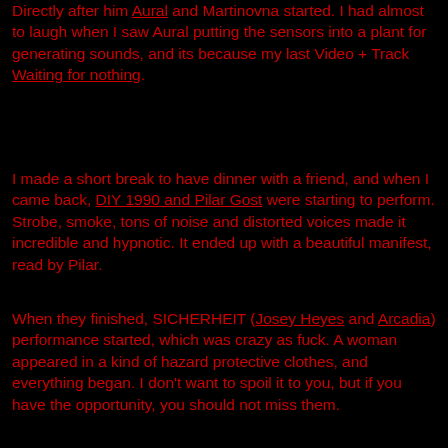Directly after him Aural and Martinovna started. I had almost to laugh when I saw Aural putting the sensors into a plant for generating sounds, and its because my last Video + Track Waiting for nothing.
I made a short break to have dinner with a friend, and when I came back, DIY 1990 and Pilar Gost were starting to perform. Strobe, smoke, tons of noise and distorted voices made it incredible and hypnotic. It ended up with a beautiful manifest, read by Pilar.
When they finished, SICHERHEIT (Josey Heyes and Arcadia) performance started, which was crazy as fuck. A woman appeared in a kind of hazard protective clothes, and everything began. I don't want to spoil it to you, but if you have the opportunity, you should not miss them. I loved it and I don't think I'll forget it...